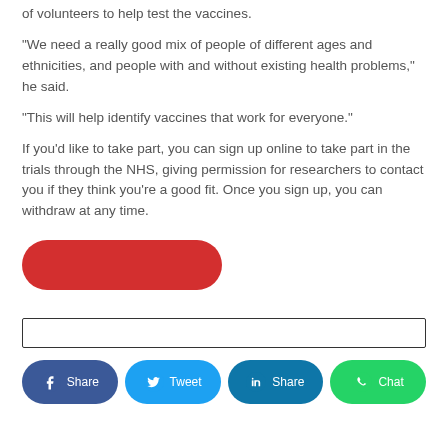of volunteers to help test the vaccines.
“We need a really good mix of people of different ages and ethnicities, and people with and without existing health problems,” he said.
“This will help identify vaccines that work for everyone.”
If you’d like to take part, you can sign up online to take part in the trials through the NHS, giving permission for researchers to contact you if they think you’re a good fit. Once you sign up, you can withdraw at any time.
[Figure (other): Red pill-shaped button (call-to-action button)]
[Figure (other): Empty search/input bar with black border]
[Figure (other): Social sharing buttons row: Facebook Share, Twitter Tweet, LinkedIn Share, WhatsApp Chat]